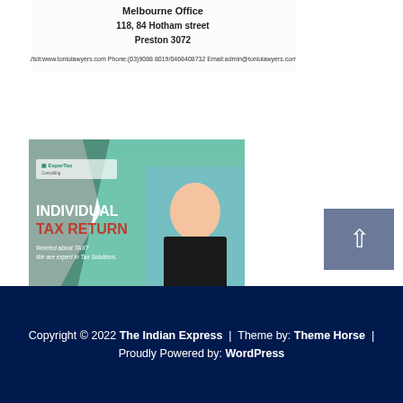[Figure (advertisement): Melbourne Office law firm banner: '118, 84 Hotham street Preston 3072'. Visit:www.toniolawyers.com Phone:(03)9088 8019/0468408732 Email:admin@toniolawyers.com]
[Figure (advertisement): ExperTax Consulting advertisement for Individual Tax Return. Shows a woman in business attire pointing. Text: 'INDIVIDUAL TAX RETURN - Worried about TAX? We are expert in Tax Solutions. Contact Us: (+61) 433311193, 03 94168942. www.expertaxconsulting.com.au. 29 Seymour Street, Preston 3072']
Copyright © 2022 The Indian Express | Theme by: Theme Horse | Proudly Powered by: WordPress